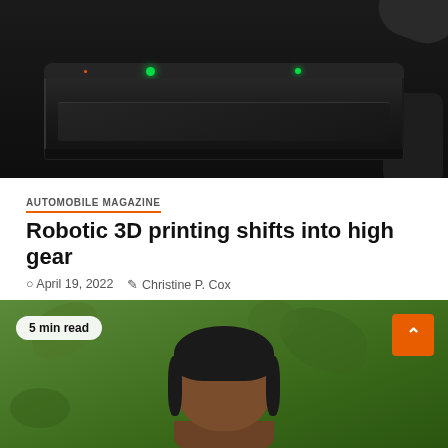[Figure (photo): A dark-colored robotic 3D printer device on a dark background with green LED indicators on top]
AUTOMOBILE MAGAZINE
Robotic 3D printing shifts into high gear
April 19, 2022   Christine P. Cox
Metal desk launched its most affordable sand 3D printer ever - the ExOne S-Max Flex - an all-new robotic sand...
[Figure (photo): A man's face/head partially visible against a green leafy background, with a '5 min read' badge and orange scroll-to-top button]